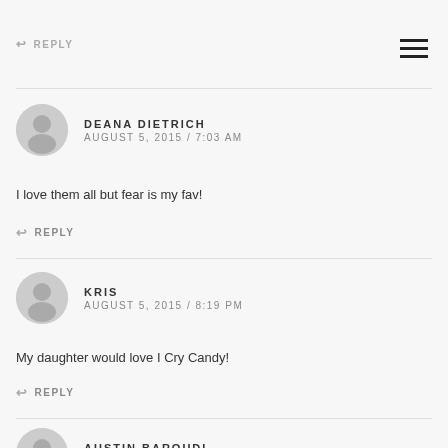↩ REPLY
DEANA DIETRICH
AUGUST 5, 2015 / 7:03 AM
I love them all but fear is my fav!
↩ REPLY
KRIS
AUGUST 5, 2015 / 8:19 PM
My daughter would love I Cry Candy!
↩ REPLY
AUSTIN BAROUDI
AUGUST 6, 2015 / 3:45 AM